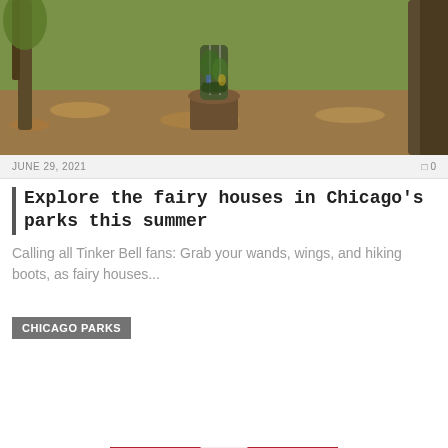[Figure (photo): Outdoor nature photo showing a fairy house sculpture or art installation on a tree stump in a wooded park setting with green grass and fallen leaves]
JUNE 29, 2021    0
Explore the fairy houses in Chicago's parks this summer
Calling all Tinker Bell fans: Grab your wands, wings, and hiking boots, as fairy houses...
[Figure (logo): A circular globe logo with dark red/maroon and yellow coloring showing a world map design, partially cropped at bottom of page, with a 'CHICAGO PARKS' category label overlaid]